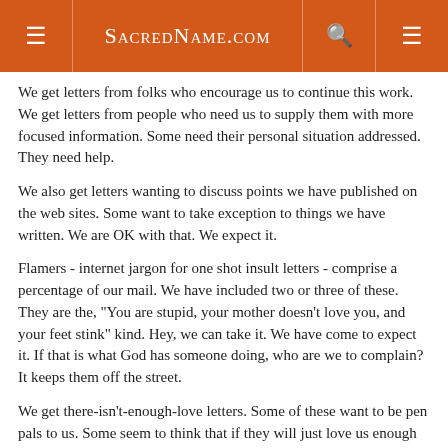SacredName.com
We get letters from folks who encourage us to continue this work. We get letters from people who need us to supply them with more focused information. Some need their personal situation addressed. They need help.
We also get letters wanting to discuss points we have published on the web sites. Some want to take exception to things we have written. We are OK with that. We expect it.
Flamers - internet jargon for one shot insult letters - comprise a percentage of our mail. We have included two or three of these. They are the, "You are stupid, your mother doesn't love you, and your feet stink" kind. Hey, we can take it. We have come to expect it. If that is what God has someone doing, who are we to complain? It keeps them off the street.
We get there-isn't-enough-love letters. Some of these want to be pen pals to us. Some seem to think that if they will just love us enough and send us enough cute little stories, we will take down the web site which so distresses them. Well, it just aint going to happen like that.